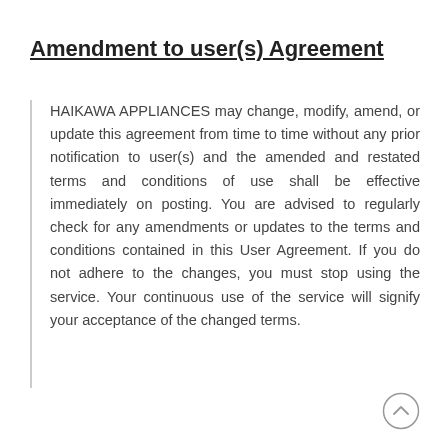Amendment to user(s) Agreement
HAIKAWA APPLIANCES may change, modify, amend, or update this agreement from time to time without any prior notification to user(s) and the amended and restated terms and conditions of use shall be effective immediately on posting. You are advised to regularly check for any amendments or updates to the terms and conditions contained in this User Agreement. If you do not adhere to the changes, you must stop using the service. Your continuous use of the service will signify your acceptance of the changed terms.